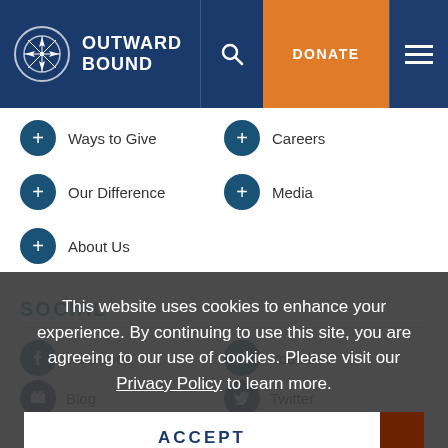OUTWARD BOUND
+ Ways to Give
+ Careers
+ Our Difference
+ Media
+ About Us
SOCIAL
Facebook
Youtube
Blog
Twitter
This website uses cookies to enhance your experience. By continuing to use this site, you are agreeing to our use of cookies. Please visit our Privacy Policy to learn more.
ACCEPT